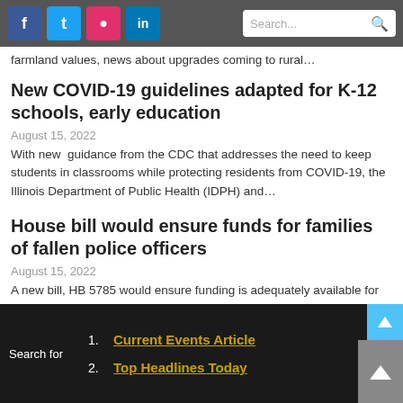Social media icons (Facebook, Twitter, Instagram, LinkedIn) and Search bar
farmland values, news about upgrades coming to rural…
New COVID-19 guidelines adapted for K-12 schools, early education
August 15, 2022
With new  guidance from the CDC that addresses the need to keep students in classrooms while protecting residents from COVID-19, the Illinois Department of Public Health (IDPH) and…
House bill would ensure funds for families of fallen police officers
August 15, 2022
A new bill, HB 5785 would ensure funding is adequately available for the families of fallen police officers. The legislation was proposed by Comptroller Susana A. Mendoza and is sponsored…
1. Current Events Article
2. Top Headlines Today